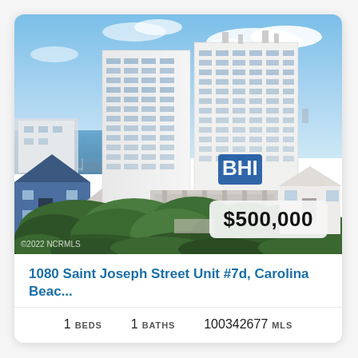[Figure (photo): Aerial photograph of a tall white high-rise condominium building near a waterfront marina. Blue sky with clouds, water visible to the left with docks and boats, residential neighborhoods visible to right and foreground with green trees.]
1080 Saint Joseph Street Unit #7d, Carolina Beac...
1 BEDS  1 BATHS  100342677 MLS